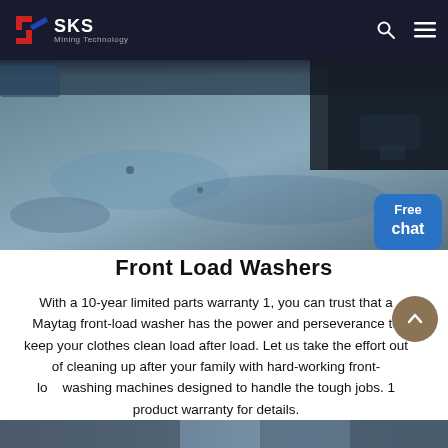SKS Mining Technology
[Figure (photo): Hero/banner image showing a mining or industrial ground surface with blue and gray tones, dark area in top right corner, partial view of machinery]
Front Load Washers
With a 10-year limited parts warranty 1, you can trust that a Maytag front-load washer has the power and perseverance to keep your clothes clean load after load. Let us take the effort out of cleaning up after your family with hard-working front-load washing machines designed to handle the tough jobs. 1 See product warranty for details.